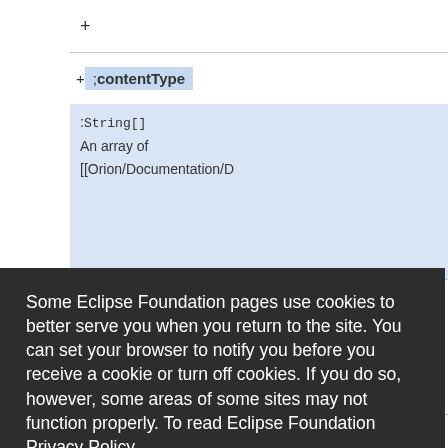[Figure (screenshot): Background website content showing a table with rows containing '+' and '+;contentType' highlighted entries, and cells with ':<code>String[]</code>', 'An array of', '[[Orion/Documentation/D' text]
Some Eclipse Foundation pages use cookies to better serve you when you return to the site. You can set your browser to notify you before you receive a cookie or turn off cookies. If you do so, however, some areas of some sites may not function properly. To read Eclipse Foundation Privacy Policy click here.
Decline
Allow cookies